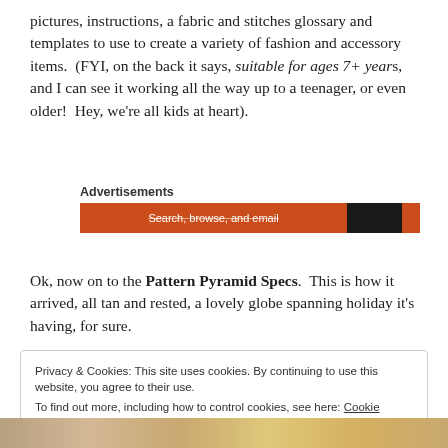pictures, instructions, a fabric and stitches glossary and templates to use to create a variety of fashion and accessory items.  (FYI, on the back it says, suitable for ages 7+ years, and I can see it working all the way up to a teenager, or even older!  Hey, we're all kids at heart).
[Figure (other): Advertisements banner with orange background showing 'Search, browse, and email' text with dark and orange accent sections]
Ok, now on to the Pattern Pyramid Specs.  This is how it arrived, all tan and rested, a lovely globe spanning holiday it's having, for sure.
Privacy & Cookies: This site uses cookies. By continuing to use this website, you agree to their use.
To find out more, including how to control cookies, see here: Cookie Policy
Close and accept
[Figure (photo): Photo strip at the bottom showing fashion/accessory items]